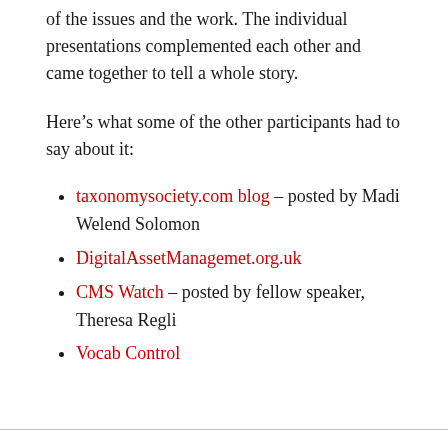of the issues and the work. The individual presentations complemented each other and came together to tell a whole story.
Here's what some of the other participants had to say about it:
taxonomysociety.com blog – posted by Madi Welend Solomon
DigitalAssetManagemet.org.uk
CMS Watch – posted by fellow speaker, Theresa Regli
Vocab Control